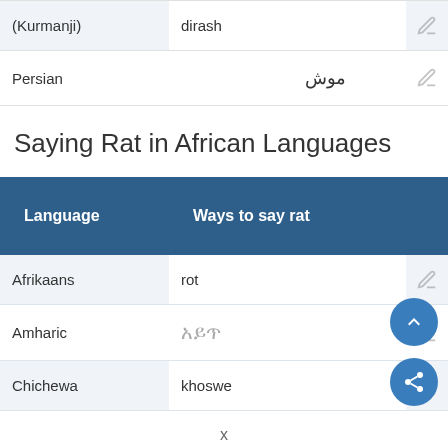| Language | Ways to say rat |
| --- | --- |
| (Kurmanji) | dirash |
| Persian | موش |
Saying Rat in African Languages
| Language | Ways to say rat |
| --- | --- |
| Afrikaans | rot |
| Amharic | አይጥ |
| Chichewa | khoswe |